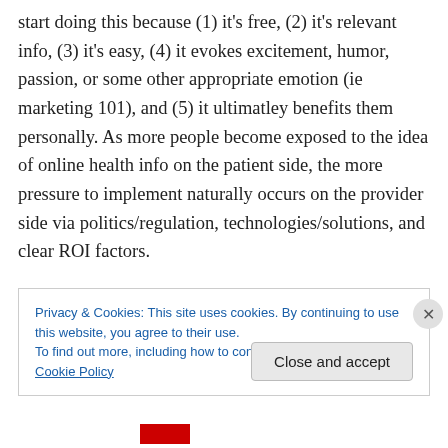start doing this because (1) it's free, (2) it's relevant info, (3) it's easy, (4) it evokes excitement, humor, passion, or some other appropriate emotion (ie marketing 101), and (5) it ultimatley benefits them personally. As more people become exposed to the idea of online health info on the patient side, the more pressure to implement naturally occurs on the provider side via politics/regulation, technologies/solutions, and clear ROI factors.
Privacy & Cookies: This site uses cookies. By continuing to use this website, you agree to their use.
To find out more, including how to control cookies, see here: Cookie Policy